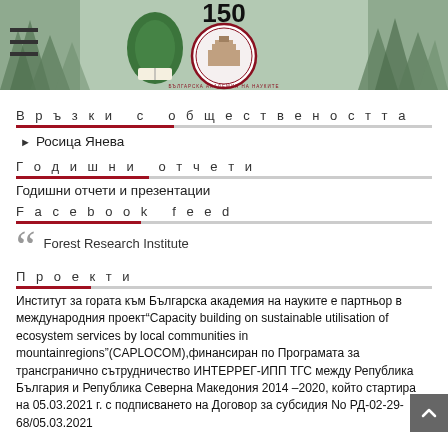[Figure (logo): Header banner with forest background, Bulgarian Academy of Sciences 150th anniversary emblem, green leaf/book logo, and hamburger menu icon on left]
Връзки с обществеността
Росица Янева
Годишни отчети
Годишни отчети и презентации
Facebook feed
Forest Research Institute
Проекти
Институт за гората към Българска академия на науките е партньор в международния проект"Capacity building on sustainable utilisation of ecosystem services by local communities in mountainregions"(CAPLOCOM),финансиран по Програмата за трансгранично сътрудничество ИНТЕРРЕГ-ИПП ТГС между Република България и Република Северна Македония 2014 –2020, който стартира на 05.03.2021 г. с подписването на Договор за субсидия No РД-02-29-68/05.03.2021